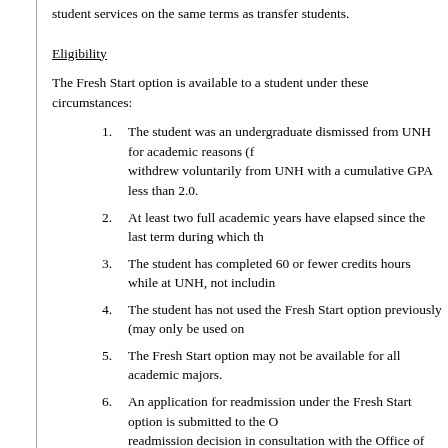student services on the same terms as transfer students.
Eligibility
The Fresh Start option is available to a student under these circumstances:
The student was an undergraduate dismissed from UNH for academic reasons (f... withdrew voluntarily from UNH with a cumulative GPA less than 2.0.
At least two full academic years have elapsed since the last term during which th...
The student has completed 60 or fewer credits hours while at UNH, not includin...
The student has not used the Fresh Start option previously (may only be used on...
The Fresh Start option may not be available for all academic majors.
An application for readmission under the Fresh Start option is submitted to the O... readmission decision in consultation with the Office of the Provost.
Each case is decided on its own merits.
Features of the Fresh Start Option
The student's prior courses and grades remain on the student's transcript and pe...